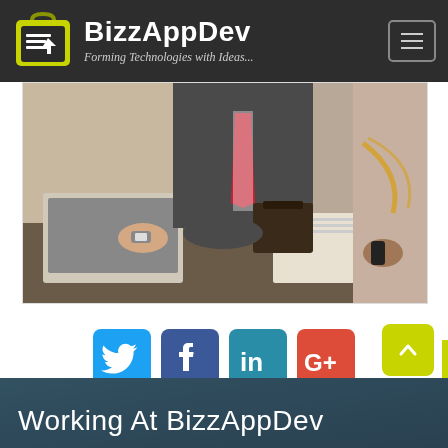BizzAppDev — Forming Technologies with Ideas...
[Figure (photo): Business meeting scene: people in suits working on laptop, reviewing documents, with a woman wearing gold necklace]
[Figure (infographic): Social media icons row: Twitter (blue bird), Facebook (dark blue f), LinkedIn (teal in), Google+ (red G+)]
[Figure (other): Yellow-green scroll-to-top button with upward caret arrow]
Working At BizzAppDev